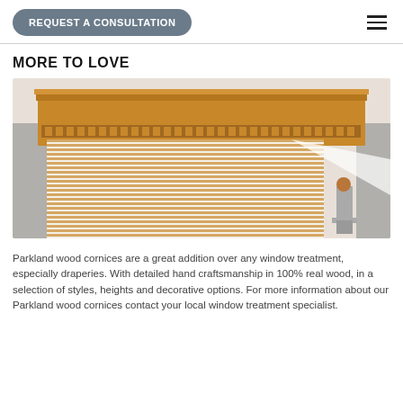REQUEST A CONSULTATION
MORE TO LOVE
[Figure (photo): A wood cornice box installed above wooden horizontal blinds, with grey curtain rods and brackets visible on the sides. A decorative finial is visible on the right side.]
Parkland wood cornices are a great addition over any window treatment, especially draperies. With detailed hand craftsmanship in 100% real wood, in a selection of styles, heights and decorative options. For more information about our Parkland wood cornices contact your local window treatment specialist.